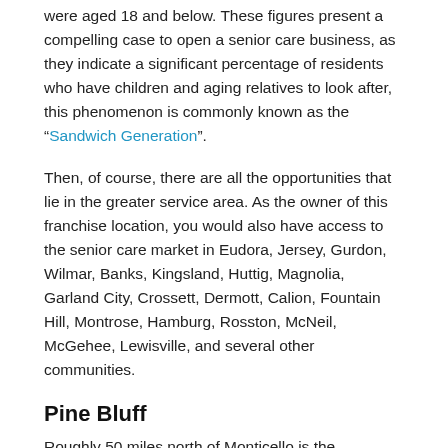were aged 18 and below. These figures present a compelling case to open a senior care business, as they indicate a significant percentage of residents who have children and aging relatives to look after, this phenomenon is commonly known as the “Sandwich Generation”.
Then, of course, there are all the opportunities that lie in the greater service area. As the owner of this franchise location, you would also have access to the senior care market in Eudora, Jersey, Gurdon, Wilmar, Banks, Kingsland, Huttig, Magnolia, Garland City, Crossett, Dermott, Calion, Fountain Hill, Montrose, Hamburg, Rosston, McNeil, McGehee, Lewisville, and several other communities.
Pine Bluff
Roughly 50 miles north of Monticello is the sprawling city of Pine Bluff. With a population of 41,474 people, it is the 10th largest city in the state. Elderly residents make up 14.8% of the population. Similar to Monticello, this is counterbalanced by the 23.2% of residents aged 18 and under, showing a potential need for senior